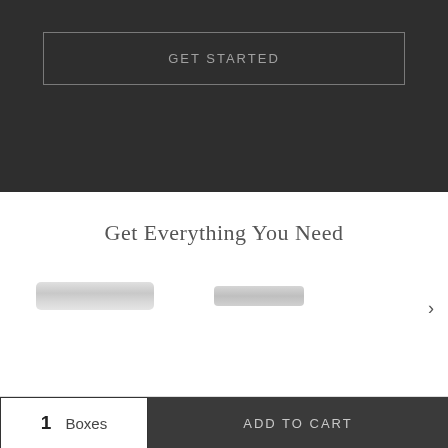GET STARTED
Get Everything You Need
[Figure (photo): Two cylindrical product items shown horizontally — a wider one on the left and a narrower one on the right, both light gray/white in color, resembling capsules or tubes.]
1  Boxes
ADD TO CART